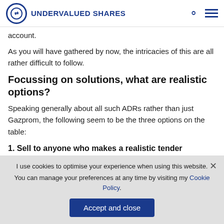UNDERVALUED SHARES
account.
As you will have gathered by now, the intricacies of this are all rather difficult to follow.
Focussing on solutions, what are realistic options?
Speaking generally about all such ADRs rather than just Gazprom, the following seem to be the three options on the table:
1. Sell to anyone who makes a realistic tender offer.
I use cookies to optimise your experience when using this website. You can manage your preferences at any time by visiting my Cookie Policy.